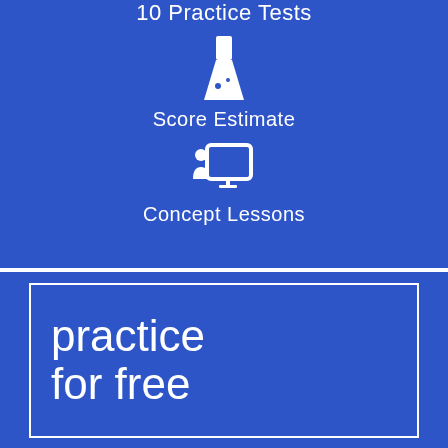10 Practice Tests
[Figure (illustration): White flask/beaker icon on blue background]
Score Estimate
[Figure (illustration): White presentation/teacher icon on blue background]
Concept Lessons
practice for free